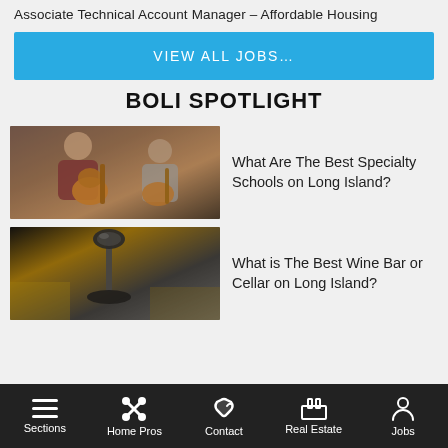Associate Technical Account Manager – Affordable Housing
VIEW ALL JOBS…
BOLI SPOTLIGHT
[Figure (photo): Two people playing acoustic guitars together indoors]
What Are The Best Specialty Schools on Long Island?
[Figure (photo): Close-up of a microphone or recording equipment with blurred background]
What is The Best Wine Bar or Cellar on Long Island?
Sections | Home Pros | Contact | Real Estate | Jobs